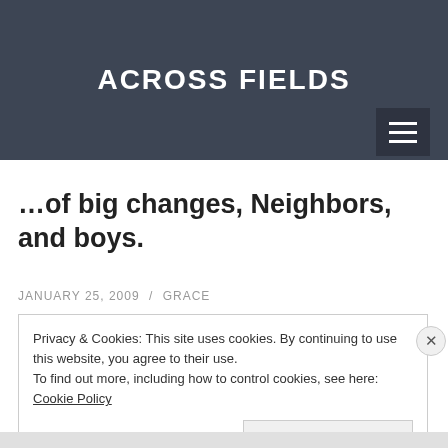ACROSS FIELDS
…of big changes, Neighbors, and boys.
JANUARY 25, 2009 / GRACE
Privacy & Cookies: This site uses cookies. By continuing to use this website, you agree to their use.
To find out more, including how to control cookies, see here: Cookie Policy
Close and accept